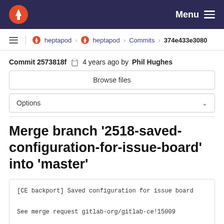Menu
heptapod > heptapod > Commits > 374e433e3080
Commit 2573818f  4 years ago by Phil Hughes
Browse files
Options
Merge branch '2518-saved-configuration-for-issue-board' into 'master'
[CE backport] Saved configuration for issue board

See merge request gitlab-org/gitlab-ce!15009